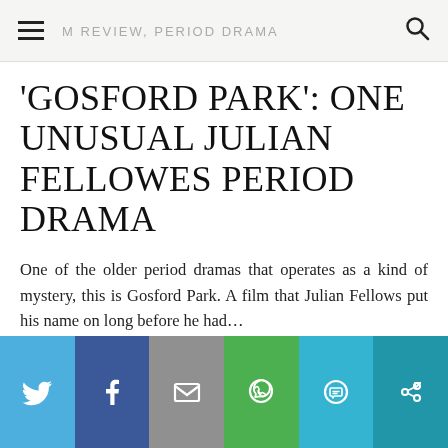FILM REVIEW, PERIOD DRAMA
'GOSFORD PARK': ONE UNUSUAL JULIAN FELLOWES PERIOD DRAMA
One of the older period dramas that operates as a kind of mystery, this is Gosford Park. A film that Julian Fellows put his name on long before he had…
READ MORE »
[Figure (infographic): Social sharing bar with six buttons: Twitter (blue), Facebook (dark blue), Email (grey), WhatsApp (green), SMS (light blue), More (teal/dark cyan). Each button has a white icon.]